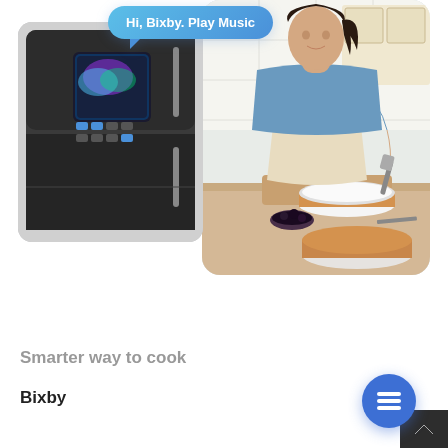[Figure (photo): Speech bubble saying 'Hi, Bixby. Play Music' overlaid on a photo of a smiling woman in a kitchen wearing a denim shirt and apron, decorating a cake. A Samsung smart refrigerator with a touchscreen is shown on the left side.]
Smarter way to cook
Bixby